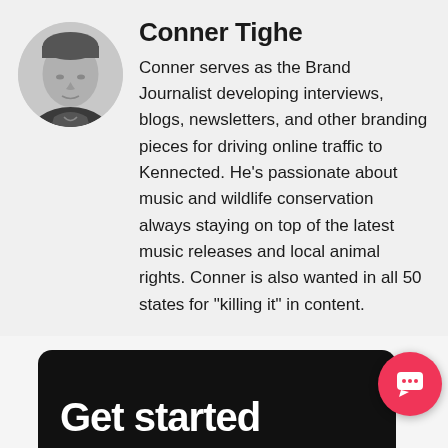[Figure (photo): Black and white circular portrait photo of Conner Tighe, a man in a suit]
Conner Tighe
Conner serves as the Brand Journalist developing interviews, blogs, newsletters, and other branding pieces for driving online traffic to Kennected. He's passionate about music and wildlife conservation always staying on top of the latest music releases and local animal rights. Conner is also wanted in all 50 states for "killing it" in content.
[Figure (other): Black rounded rectangle banner beginning to show 'Get started' text in bold white, with a pink/red circular chat bubble icon in the bottom right corner]